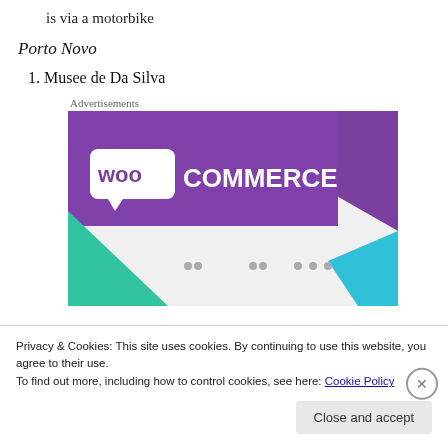is via a motorbike
Porto Novo
1. Musee de Da Silva
Advertisements
[Figure (screenshot): WooCommerce advertisement banner with purple background and teal accent shapes]
Privacy & Cookies: This site uses cookies. By continuing to use this website, you agree to their use.
To find out more, including how to control cookies, see here: Cookie Policy